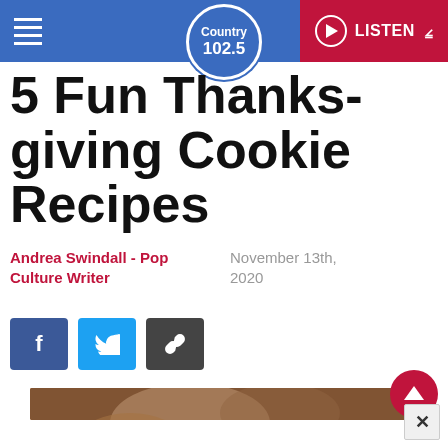Country 102.5 | LISTEN
5 Fun Thanksgiving Cookie Recipes
Andrea Swindall - Pop Culture Writer
November 13th, 2020
[Figure (photo): Child's hands working with cookies or dough on a wooden surface, warm tones]
[Figure (other): Close (X) button overlay at bottom right]